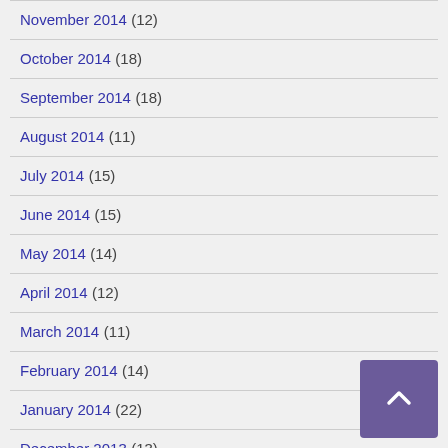November 2014 (12)
October 2014 (18)
September 2014 (18)
August 2014 (11)
July 2014 (15)
June 2014 (15)
May 2014 (14)
April 2014 (12)
March 2014 (11)
February 2014 (14)
January 2014 (22)
December 2013 (13)